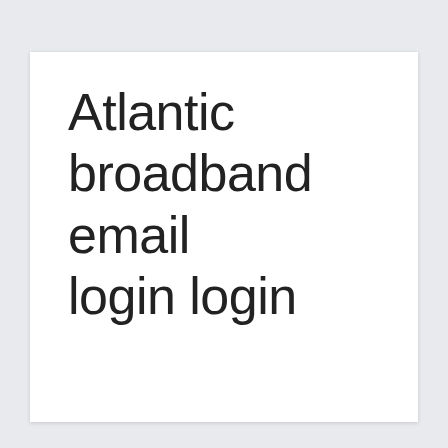Atlantic broadband email login login